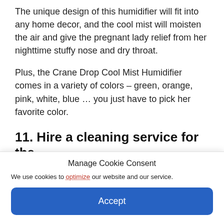The unique design of this humidifier will fit into any home decor, and the cool mist will moisten the air and give the pregnant lady relief from her nighttime stuffy nose and dry throat.
Plus, the Crane Drop Cool Mist Humidifier comes in a variety of colors – green, orange, pink, white, blue … you just have to pick her favorite color.
11. Hire a cleaning service for the
Manage Cookie Consent
We use cookies to optimize our website and our service.
Accept